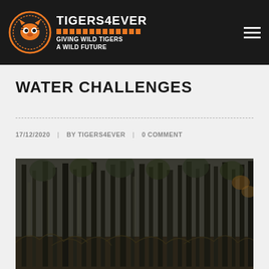TIGERS4EVER — GIVING WILD TIGERS A WILD FUTURE
WATER CHALLENGES
17/12/2020 | BY TIGERS4EVER | 0 COMMENT
[Figure (photo): Dense forest scene with tall trees and dry undergrowth, dark and moody atmosphere]